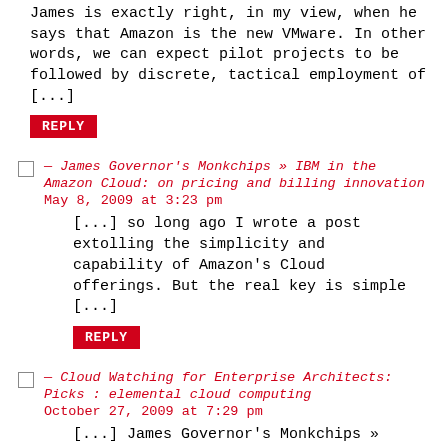James is exactly right, in my view, when he says that Amazon is the new VMware. In other words, we can expect pilot projects to be followed by discrete, tactical employment of [...]
REPLY
— James Governor's Monkchips » IBM in the Amazon Cloud: on pricing and billing innovation
May 8, 2009 at 3:23 pm
[...] so long ago I wrote a post extolling the simplicity and capability of Amazon's Cloud offerings. But the real key is simple [...]
REPLY
— Cloud Watching for Enterprise Architects: Picks : elemental cloud computing
October 27, 2009 at 7:29 pm
[...] James Governor's Monkchips » Amazon Web Services: an instance of weakness as strength [...]